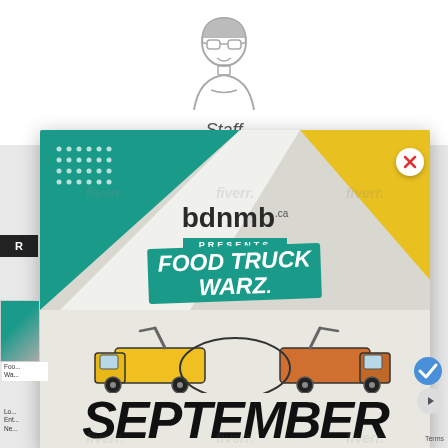[Figure (illustration): Avatar/user icon — stylized person with glasses wearing a hoodie, gray outline illustration]
Staff
[Figure (infographic): bdnmb.ca presents Food Truck Warz promotional poster. Teal and yellow geometric background with dot grid pattern. Shows 'bdnmb.ca PRESENTS' logo at top, then 'FOOD TRUCK WARZ' in teal banner with illustrated food trucks below, and large 'SEPTEMBER' text at bottom. Fiverr watermarks overlaid.]
Foo...
Wa...
Lo...
Ent...
Ne...
Terms